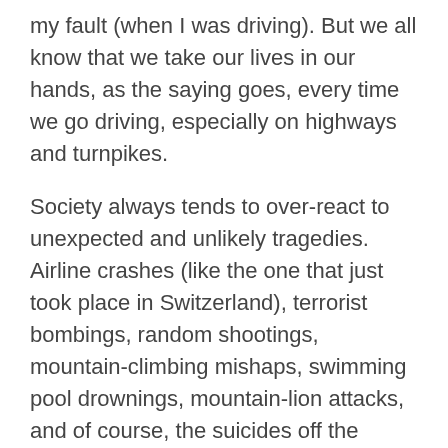my fault (when I was driving). But we all know that we take our lives in our hands, as the saying goes, every time we go driving, especially on highways and turnpikes.
Society always tends to over-react to unexpected and unlikely tragedies. Airline crashes (like the one that just took place in Switzerland), terrorist bombings, random shootings, mountain-climbing mishaps, swimming pool drownings, mountain-lion attacks, and of course, the suicides off the Golden Gate Bridge. Inevitably, after each reported incident, we hear calls for more safety measures, more restrictive access, tighter controls, more barriers, and more elaborate rules to govern our behavior for our own good.
There are some people who seem particularly prone to advocating greater control over human behavior. Governments are always wary of the risk of being